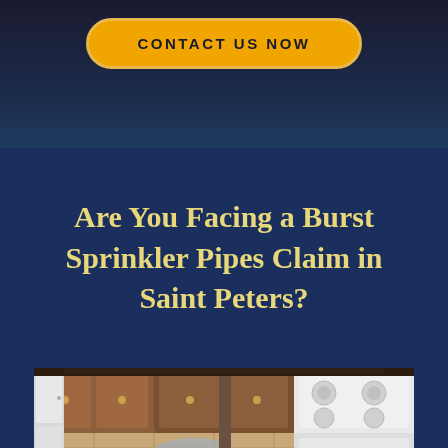CONTACT US NOW
Are You Facing a Burst Sprinkler Pipes Claim in Saint Peters?
[Figure (photo): Interior photo of a kitchen with wood cabinets, white appliances (stove/range), and water damage visible on the floor tiles, depicting burst sprinkler pipe damage.]